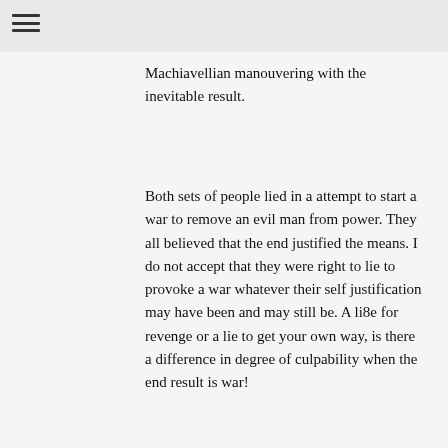Machiavellian manouvering with the inevitable result.
Both sets of people lied in a attempt to start a war to remove an evil man from power. They all believed that the end justified the means. I do not accept that they were right to lie to provoke a war whatever their self justification may have been and may still be. A li8e for revenge or a lie to get your own way, is there a difference in degree of culpability when the end result is war!